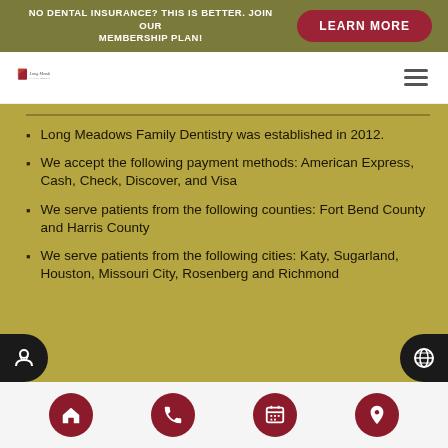NO DENTAL INSURANCE? THIS IS BETTER. JOIN OUR MEMBERSHIP PLAN! | LEARN MORE
[Figure (logo): Long Meadows Family Dentistry logo with red stylized tooth/flag icon and italic script text]
Long Meadows Family Dentistry was established in 2012.
We accept the following payment methods: American Express, Cash, Check, Discover, and Visa
We serve patients from the following counties: Fort Bend County and Harris County
We serve patients from the following cities: Katy, Sugarland, Houston, Missouri City, Rosenberg and Richmond